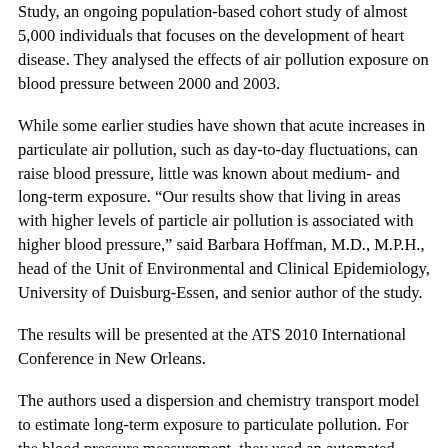Study, an ongoing population-based cohort study of almost 5,000 individuals that focuses on the development of heart disease. They analysed the effects of air pollution exposure on blood pressure between 2000 and 2003.
While some earlier studies have shown that acute increases in particulate air pollution, such as day-to-day fluctuations, can raise blood pressure, little was known about medium- and long-term exposure. “Our results show that living in areas with higher levels of particle air pollution is associated with higher blood pressure,” said Barbara Hoffman, M.D., M.P.H., head of the Unit of Environmental and Clinical Epidemiology, University of Duisburg-Essen, and senior author of the study.
The results will be presented at the ATS 2010 International Conference in New Orleans.
The authors used a dispersion and chemistry transport model to estimate long-term exposure to particulate pollution. For the blood pressure measurement, they used an automated oscillometric device that detects the blood’s movement through the brachial artery and converts the movements into a digital reading.